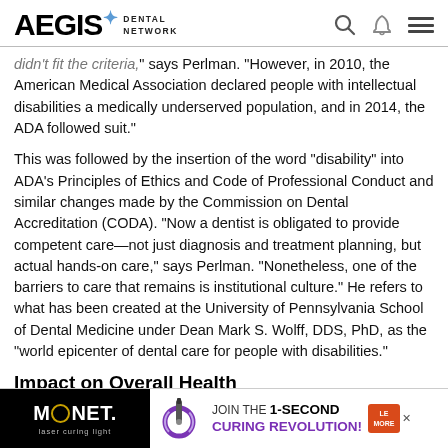AEGIS DENTAL NETWORK
didn't fit the criteria," says Perlman. "However, in 2010, the American Medical Association declared people with intellectual disabilities a medically underserved population, and in 2014, the ADA followed suit."
This was followed by the insertion of the word "disability" into ADA's Principles of Ethics and Code of Professional Conduct and similar changes made by the Commission on Dental Accreditation (CODA). "Now a dentist is obligated to provide competent care—not just diagnosis and treatment planning, but actual hands-on care," says Perlman. "Nonetheless, one of the barriers to care that remains is institutional culture." He refers to what has been created at the University of Pennsylvania School of Dental Medicine under Dean Mark S. Wolff, DDS, PhD, as the "world epicenter of dental care for people with disabilities."
Impact on Overall Health
For patients with special health care needs, their clinical care...
[Figure (advertisement): MONET laser curing light advertisement banner with text JOIN THE 1-SECOND CURING REVOLUTION!]